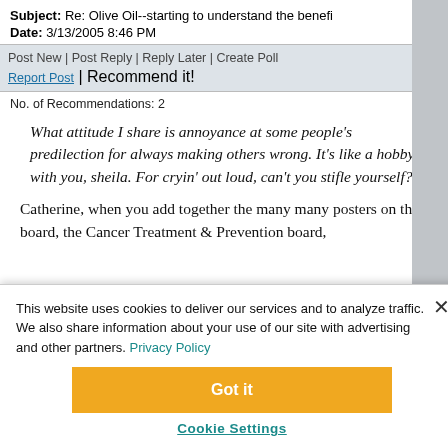Subject: Re: Olive Oil--starting to understand the benefi
Date: 3/13/2005 8:46 PM
Post New | Post Reply | Reply Later | Create Poll
Report Post | Recommend it!
No. of Recommendations: 2
What attitude I share is annoyance at some people's predilection for always making others wrong. It's like a hobby with you, sheila. For cryin' out loud, can't you stifle yourself?!
Catherine, when you add together the many many posters on this board, the Cancer Treatment & Prevention board,
This website uses cookies to deliver our services and to analyze traffic. We also share information about your use of our site with advertising and other partners. Privacy Policy
Got it
Cookie Settings